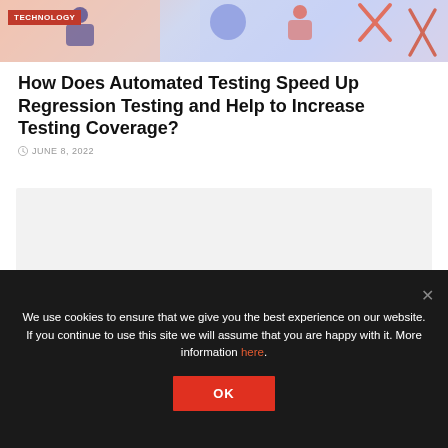[Figure (illustration): Technology blog header banner with colorful abstract illustration of people working, with geometric shapes in pink, blue, and coral tones]
TECHNOLOGY
How Does Automated Testing Speed Up Regression Testing and Help to Increase Testing Coverage?
JUNE 8, 2022
[Figure (other): Light grey content placeholder box]
We use cookies to ensure that we give you the best experience on our website. If you continue to use this site we will assume that you are happy with it. More information here.